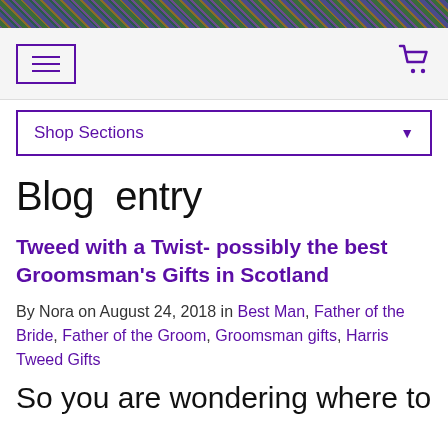[Figure (photo): Decorative tartan/tweed header image with plaid pattern in greens, purples, and browns]
Navigation bar with hamburger menu and shopping cart icon
Shop Sections
Blog entry
Tweed with a Twist- possibly the best Groomsman's Gifts in Scotland
By Nora on August 24, 2018 in Best Man, Father of the Bride, Father of the Groom, Groomsman gifts, Harris Tweed Gifts
So you are wondering where to